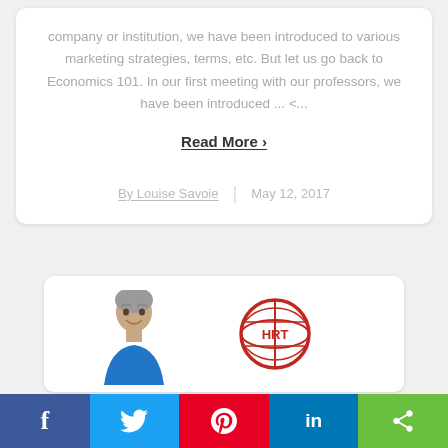company or institution, we have been introduced to various marketing strategies, terms, etc. But let us go back to Economics 101. In our first meeting with our professors, we have been introduced ... <...
Read More ›
By Louise Savoie | May 12, 2017
[Figure (photo): Partial view of a second article card showing a man's photo and a red globe/network logo (HRT)]
[Figure (infographic): Social sharing bar at the bottom with Facebook (blue), Twitter (light blue), Pinterest (red), LinkedIn (dark blue), and share (green) buttons]